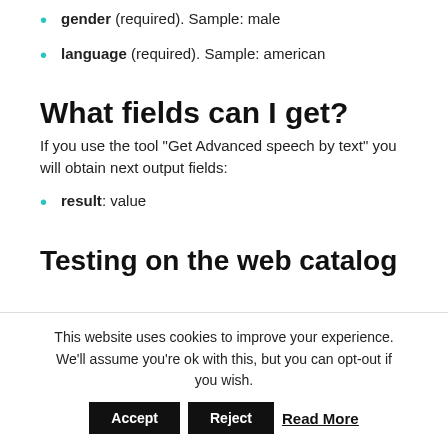gender (required). Sample: male
language (required). Sample: american
What fields can I get?
If you use the tool “Get Advanced speech by text” you will obtain next output fields:
result: value
Testing on the web catalog
This website uses cookies to improve your experience. We’ll assume you’re ok with this, but you can opt-out if you wish.